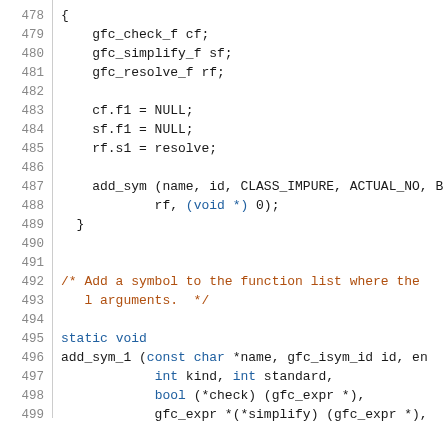Code listing lines 478-499, C source code showing function body and add_sym_1 declaration